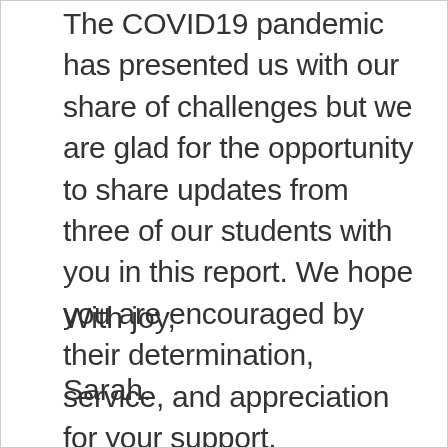The COVID19 pandemic has presented us with our share of challenges but we are glad for the opportunity to share updates from three of our students with you in this report. We hope you are encouraged by their determination, service, and appreciation for your support.
With joy,
Sarah.